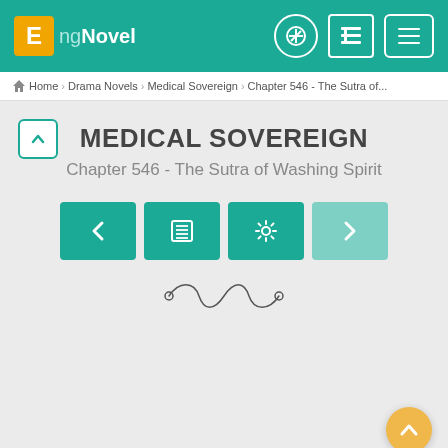EngNovel
Home › Drama Novels › Medical Sovereign › Chapter 546 - The Sutra of...
MEDICAL SOVEREIGN
Chapter 546 - The Sutra of Washing Spirit
[Figure (screenshot): Navigation buttons row with back arrow, table of contents, settings gear, and forward arrow (disabled/lighter). Plus a decorative scroll divider below.]